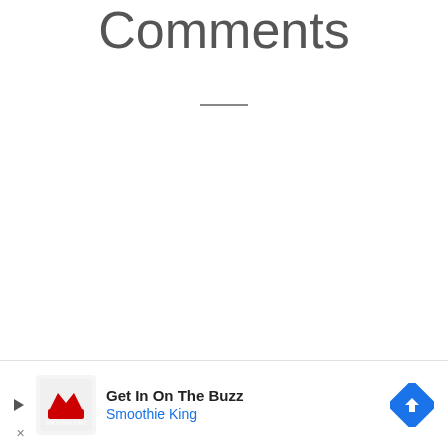Comments
[Figure (other): Horizontal divider line below the Comments title]
[Figure (other): Advertisement banner: Get In On The Buzz - Smoothie King, with play button, logo, and direction icon]